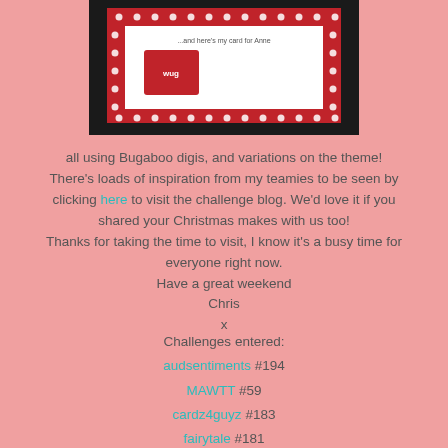[Figure (photo): A greeting card with red polka-dot border on a black background, visible at the top of the page]
all using Bugaboo digis, and variations on the theme! There's loads of inspiration from my teamies to be seen by clicking here to visit the challenge blog. We'd love it if you shared your Christmas makes with us too! Thanks for taking the time to visit, I know it's a busy time for everyone right now. Have a great weekend Chris x
Challenges entered: audsentiments #194 MAWTT #59 cardz4guyz #183 fairytale #181 catchthebug -Merry and Bright